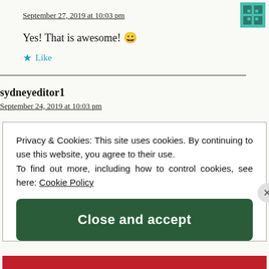September 27, 2019 at 10:03 pm
Yes! That is awesome! 😀
★ Like
sydneyeditor1
September 24, 2019 at 10:03 pm
Privacy & Cookies: This site uses cookies. By continuing to use this website, you agree to their use. To find out more, including how to control cookies, see here: Cookie Policy
Close and accept